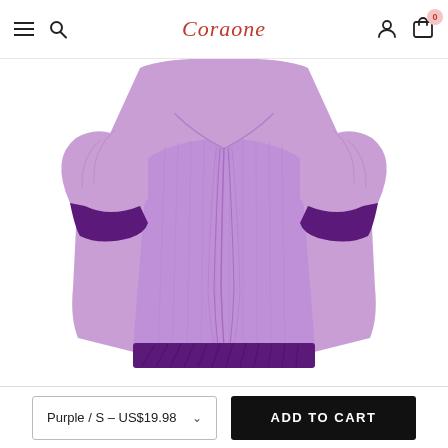Coraone
[Figure (photo): A light purple/lavender cropped top with sweetheart neckline, short puffed sleeves, dark purple ribbed cuffs and hem band, with ruched center front detail, displayed against a white background.]
Purple / S – US$19.98
ADD TO CART